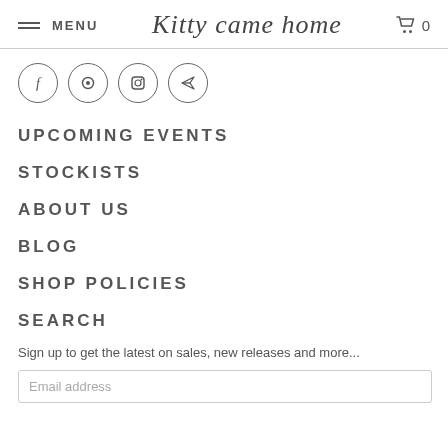MENU  Kitty came home  0
[Figure (illustration): Four social media icons in circles: Facebook (f), Pinterest (p with circle), Instagram (camera square), and a paper plane/send icon]
UPCOMING EVENTS
STOCKISTS
ABOUT US
BLOG
SHOP POLICIES
SEARCH
Sign up to get the latest on sales, new releases and more...
Email address